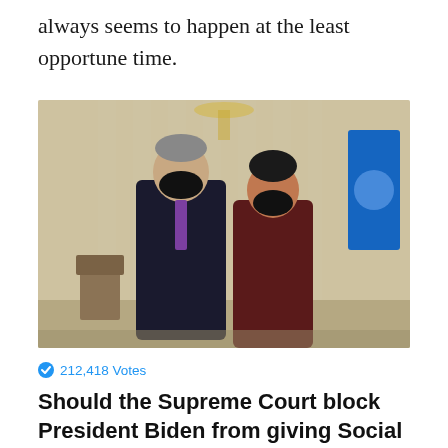always seems to happen at the least opportune time.
[Figure (photo): Two people wearing black face masks facing each other in a formal room with columns and drapes. A blue monitor screen is visible in the background on the right.]
212,418 Votes
Should the Supreme Court block President Biden from giving Social Security to illegal immigrants?